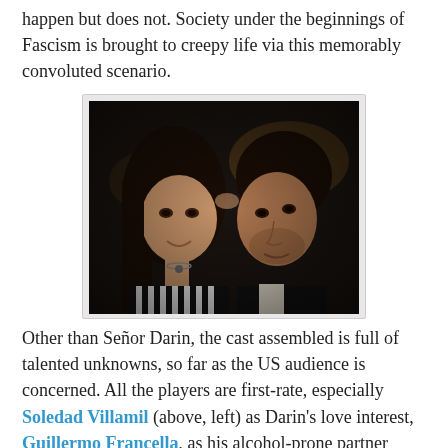happen but does not. Society under the beginnings of Fascism is brought to creepy life via this memorably convoluted scenario.
[Figure (photo): A man and woman facing each other closely, almost touching foreheads, in a romantic pose. The woman is on the left with dark straight hair and a striped top; the man is on the right in a dark suit. Dark, warmly lit background.]
Other than Señor Darin, the cast assembled is full of talented unknowns, so far as the US audience is concerned. All the players are first-rate, especially Soledad Villamil (above, left) as Darin's love interest, Guillermo Francella, as his alcohol-prone partner (below, right), Pablo Rago as the grieving husband and Javier Godino (shown two photos above, with the gun in that elevator) as the "perp." You can enjoy The Secret in Their Eyes for its love story, its thriller aspects, its drama. Watchful viewers, however, may also get